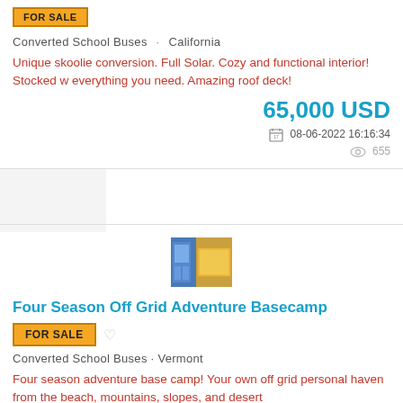FOR SALE
Converted School Buses · California
Unique skoolie conversion. Full Solar. Cozy and functional interior! Stocked w everything you need. Amazing roof deck!
65,000 USD
08-06-2022 16:16:34
655
[Figure (photo): Thumbnail photo of a converted school bus interior showing warm golden lighting]
Four Season Off Grid Adventure Basecamp
FOR SALE
Converted School Buses · Vermont
Four season adventure base camp! Your own off grid personal haven from the beach, mountains, slopes, and desert